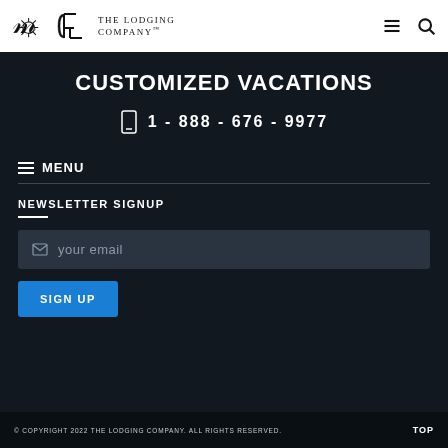The Lodging Company
CUSTOMIZED VACATIONS
1 - 888 - 676 - 9977
≡ MENU
NEWSLETTER SIGNUP
your email
SIGN UP
© COPYRIGHT 2022 THE LODGING COMPANY. ALL RIGHTS RESERVED.    TOP